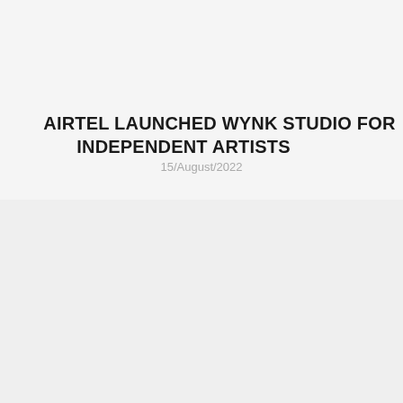AIRTEL LAUNCHED WYNK STUDIO FOR INDEPENDENT ARTISTS
15/August/2022